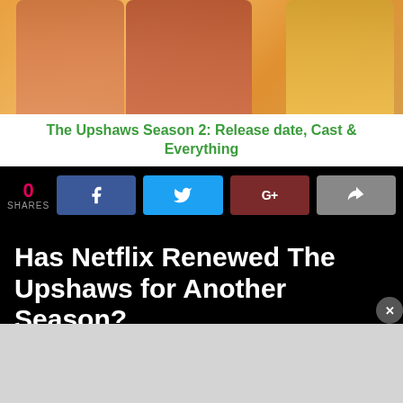[Figure (photo): Banner image showing three characters from The Upshaws TV show with an orange/warm background, with the text overlay 'The Upshaws Season 2: Release date, Cast & Everything']
The Upshaws Season 2: Release date, Cast & Everything
0 SHARES
[Figure (infographic): Social share buttons: Facebook (blue), Twitter (light blue), Google+ (dark red), Share (gray)]
Has Netflix Renewed The Upshaws for Another Season?
The Upshaws Season 1 introduced the audience to the quirky yet a bit messy Upshaw's family based in Indianapolis. After Netflix dropped its first season in M…